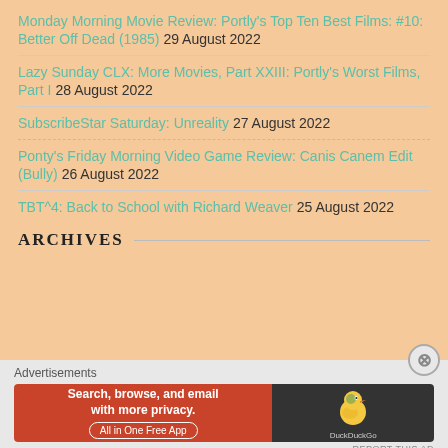Monday Morning Movie Review: Portly's Top Ten Best Films: #10: Better Off Dead (1985) 29 August 2022
Lazy Sunday CLX: More Movies, Part XXIII: Portly's Worst Films, Part I 28 August 2022
SubscribeStar Saturday: Unreality 27 August 2022
Ponty's Friday Morning Video Game Review: Canis Canem Edit (Bully) 26 August 2022
TBT^4: Back to School with Richard Weaver 25 August 2022
ARCHIVES
Advertisements
[Figure (infographic): DuckDuckGo advertisement banner: 'Search, browse, and email with more privacy. All in One Free App' with DuckDuckGo duck logo on dark background]